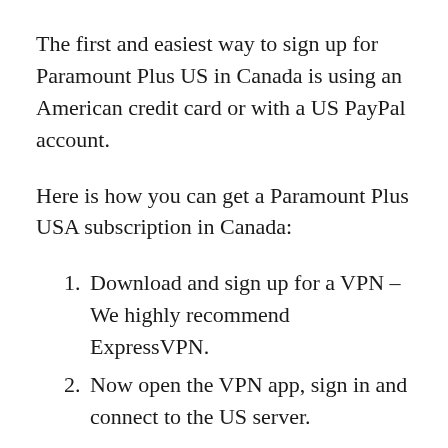The first and easiest way to sign up for Paramount Plus US in Canada is using an American credit card or with a US PayPal account.
Here is how you can get a Paramount Plus USA subscription in Canada:
Download and sign up for a VPN – We highly recommend ExpressVPN.
Now open the VPN app, sign in and connect to the US server.